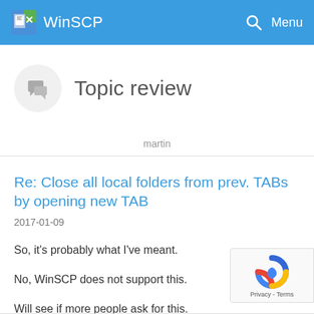WinSCP  Menu
Topic review
martin
Re: Close all local folders from prev. TABs by opening new TAB
2017-01-09
So, it's probably what I've meant.
No, WinSCP does not support this.
Will see if more people ask for this.